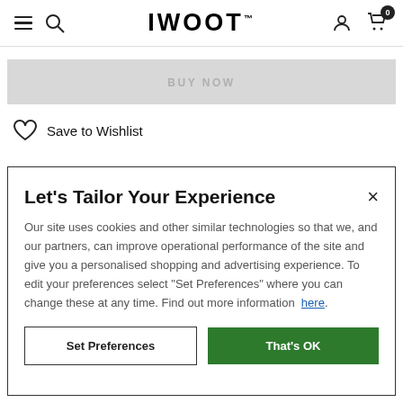IWOOT
BUY NOW
Save to Wishlist
Let's Tailor Your Experience
Our site uses cookies and other similar technologies so that we, and our partners, can improve operational performance of the site and give you a personalised shopping and advertising experience. To edit your preferences select "Set Preferences" where you can change these at any time. Find out more information here.
Set Preferences
That's OK